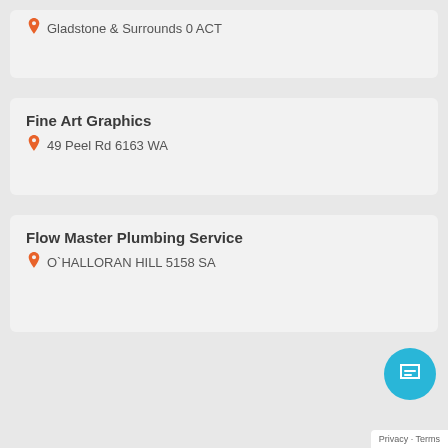Gladstone & Surrounds 0 ACT
Fine Art Graphics
49 Peel Rd 6163 WA
Flow Master Plumbing Service
O`HALLORAN HILL 5158 SA
Privacy - Terms